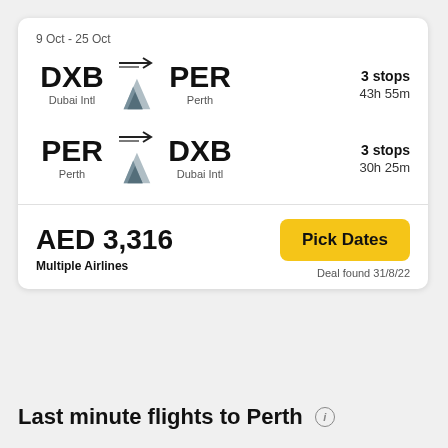9 Oct - 25 Oct
DXB → PER | Dubai Intl to Perth | 3 stops | 43h 55m
PER → DXB | Perth to Dubai Intl | 3 stops | 30h 25m
AED 3,316
Multiple Airlines
Pick Dates
Deal found 31/8/22
Last minute flights to Perth